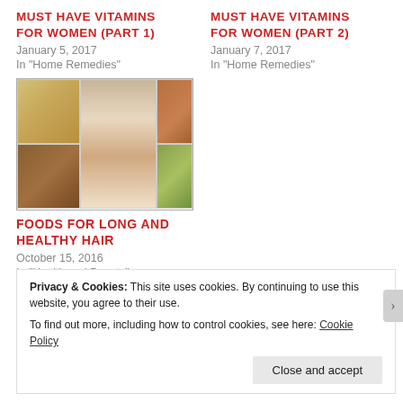MUST HAVE VITAMINS FOR WOMEN (part 1)
January 5, 2017
In "Home Remedies"
MUST HAVE VITAMINS FOR WOMEN (part 2)
January 7, 2017
In "Home Remedies"
[Figure (photo): Collage of food images for long and healthy hair: grains, woman with long hair, bread, nuts, salad, spices, coconut]
FOODS FOR LONG AND HEALTHY HAIR
October 15, 2016
In "Health and Beauty"
Privacy & Cookies: This site uses cookies. By continuing to use this website, you agree to their use.
To find out more, including how to control cookies, see here: Cookie Policy